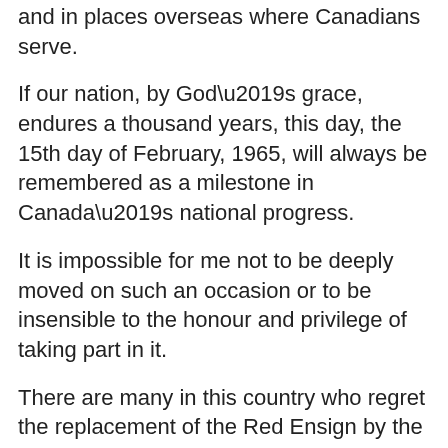and in places overseas where Canadians serve.
If our nation, by God’s grace, endures a thousand years, this day, the 15th day of February, 1965, will always be remembered as a milestone in Canada’s national progress.
It is impossible for me not to be deeply moved on such an occasion or to be insensible to the honour and privilege of taking part in it.
There are many in this country who regret the replacement of the Red Ensign by the red Maple Leaf. Their feelings and their emotions should be honoured and respected. But I am sure, now that the decision has been made by the representatives of the Canadian people in Parliament assembled, that all Canadians, as good patriots, will accept that decision and fly with pride our national flag.